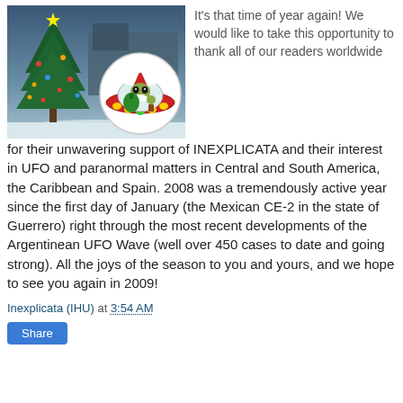[Figure (photo): Christmas scene: decorated Christmas tree on snowy ground on the left, and a cartoon UFO with a Santa Claus alien inside carrying a green gift bag on the right, set against a wintry outdoor background.]
It's that time of year again! We would like to take this opportunity to thank all of our readers worldwide for their unwavering support of INEXPLICATA and their interest in UFO and paranormal matters in Central and South America, the Caribbean and Spain. 2008 was a tremendously active year since the first day of January (the Mexican CE-2 in the state of Guerrero) right through the most recent developments of the Argentinean UFO Wave (well over 450 cases to date and going strong). All the joys of the season to you and yours, and we hope to see you again in 2009!
Inexplicata (IHU) at 3:54 AM
Share